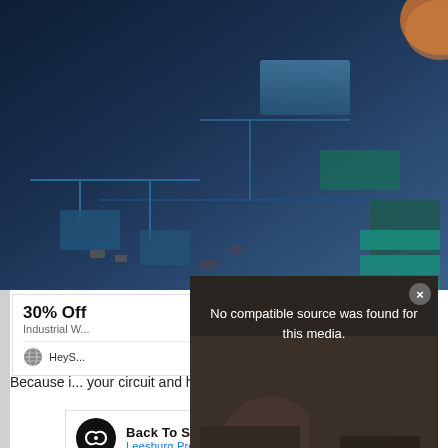[Figure (photo): Circuit board close-up photo with blue tones, showing electronic components and chips. A hand/finger is partially visible in the upper right corner.]
30% Off
Industrial W...
HeyS...
[Figure (screenshot): Video player modal overlay displaying 'No compatible source was found for this media.' with a large X symbol over a dark automotive/mechanical background image. Has a close (x) button in upper right.]
Because i... your circuit and having a lot of trouble with blown fuses or
[Figure (infographic): Advertisement banner: 'Back To School Essentials - Leesburg Premium Outlets' with circular dark logo with infinity symbol and blue diamond navigation arrow icon.]